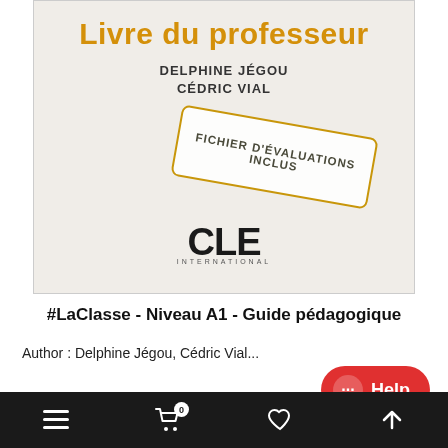[Figure (photo): Book cover photo showing 'Livre du professeur' by Delphine Jégou and Cédric Vial, with a 'Fichier d'évaluations inclus' stamp and CLE International logo]
#LaClasse - Niveau A1 - Guide pédagogique
Author : Delphine Jégou, Cédric Vial...
[Figure (other): Red Help button with chat dots icon]
Navigation bar with menu, cart (0), heart, and up-arrow icons